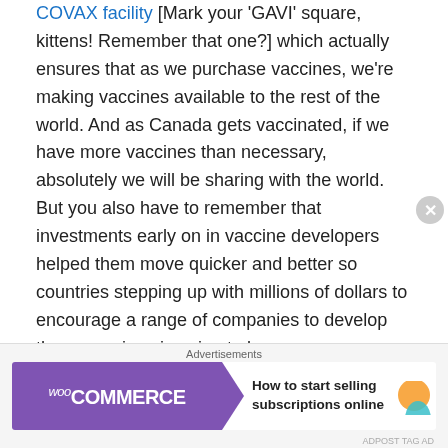COVAX facility [Mark your 'GAVI' square, kittens! Remember that one?] which actually ensures that as we purchase vaccines, we're making vaccines available to the rest of the world. And as Canada gets vaccinated, if we have more vaccines than necessary, absolutely we will be sharing with the world. But you also have to remember that investments early on in vaccine developers helped them move quicker and better so countries stepping up with millions of dollars to encourage a range of companies to develop these vaccines is going to leave everyone better, because we don't get through this pandemic anywhere without getting through it everywhere.
ES: Let's talk about what happened in the last year, and I
[Figure (other): WooCommerce advertisement banner: 'How to start selling subscriptions online']